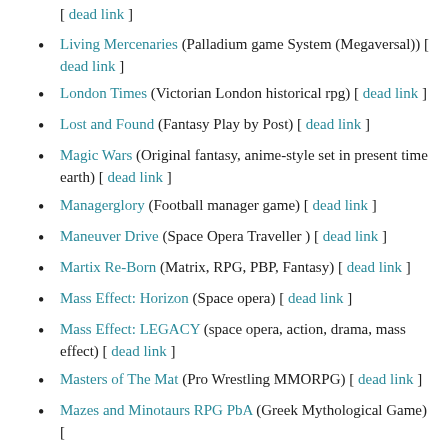[ dead link ]
Living Mercenaries (Palladium game System (Megaversal)) [ dead link ]
London Times (Victorian London historical rpg) [ dead link ]
Lost and Found (Fantasy Play by Post) [ dead link ]
Magic Wars (Original fantasy, anime-style set in present time earth) [ dead link ]
Managerglory (Football manager game) [ dead link ]
Maneuver Drive (Space Opera Traveller ) [ dead link ]
Martix Re-Born (Matrix, RPG, PBP, Fantasy) [ dead link ]
Mass Effect: Horizon (Space opera) [ dead link ]
Mass Effect: LEGACY (space opera, action, drama, mass effect) [ dead link ]
Masters of The Mat (Pro Wrestling MMORPG) [ dead link ]
Mazes and Minotaurs RPG PbA (Greek Mythological Game) [ dead link ]